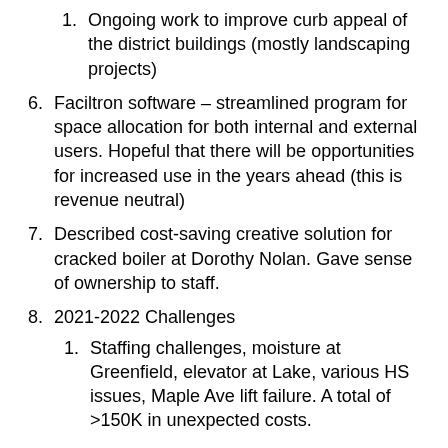1. Ongoing work to improve curb appeal of the district buildings (mostly landscaping projects)
6. Faciltron software – streamlined program for space allocation for both internal and external users. Hopeful that there will be opportunities for increased use in the years ahead (this is revenue neutral)
7. Described cost-saving creative solution for cracked boiler at Dorothy Nolan. Gave sense of ownership to staff.
8. 2021-2022 Challenges
1. Staffing challenges, moisture at Greenfield, elevator at Lake, various HS issues, Maple Ave lift failure. A total of >150K in unexpected costs.